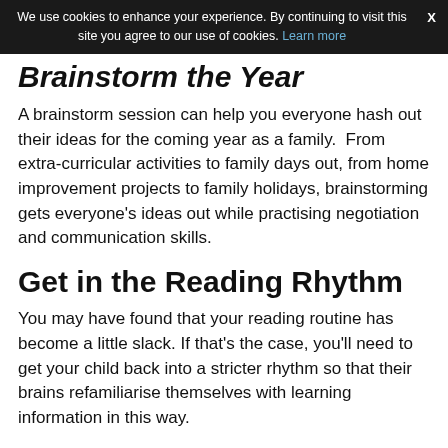We use cookies to enhance your experience. By continuing to visit this site you agree to our use of cookies. Learn more  X
Brainstorm the Year
A brainstorm session can help you everyone hash out their ideas for the coming year as a family.  From extra-curricular activities to family days out, from home improvement projects to family holidays, brainstorming gets everyone's ideas out while practising negotiation and communication skills.
Get in the Reading Rhythm
You may have found that your reading routine has become a little slack. If that's the case, you'll need to get your child back into a stricter rhythm so that their brains refamiliarise themselves with learning information in this way.